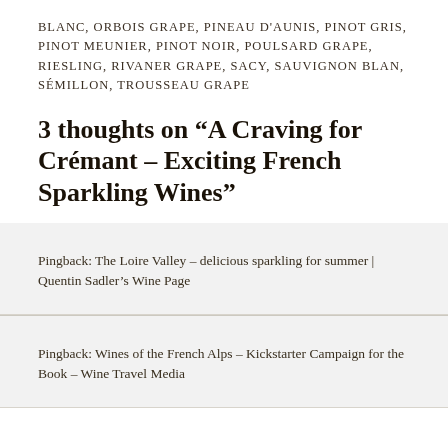BLANC, ORBOIS GRAPE, PINEAU D'AUNIS, PINOT GRIS, PINOT MEUNIER, PINOT NOIR, POULSARD GRAPE, RIESLING, RIVANER GRAPE, SACY, SAUVIGNON BLAN, SÉMILLON, TROUSSEAU GRAPE
3 thoughts on “A Craving for Crémant – Exciting French Sparkling Wines”
Pingback: The Loire Valley – delicious sparkling for summer | Quentin Sadler's Wine Page
Pingback: Wines of the French Alps – Kickstarter Campaign for the Book – Wine Travel Media